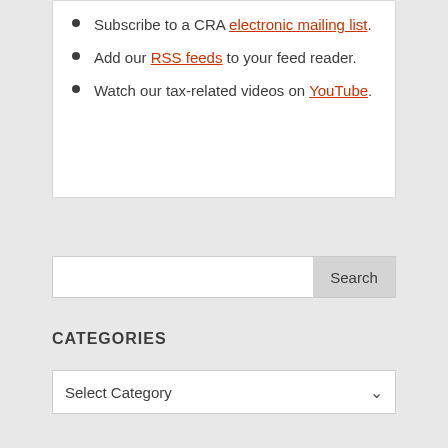Subscribe to a CRA electronic mailing list.
Add our RSS feeds to your feed reader.
Watch our tax-related videos on YouTube.
Search
CATEGORIES
Select Category